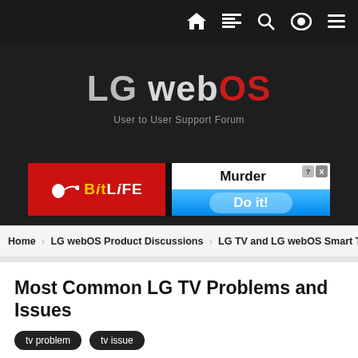LG webOS User to User Support Forum — navigation icons
[Figure (logo): LG webOS User to User Support Forum logo on dark background]
[Figure (illustration): BitLife advertisement banner: 'Murder Do it!']
Home › LG webOS Product Discussions › LG TV and LG webOS Smart TV
Most Common LG TV Problems and Issues
tv problem
tv issue
By ajmboy,